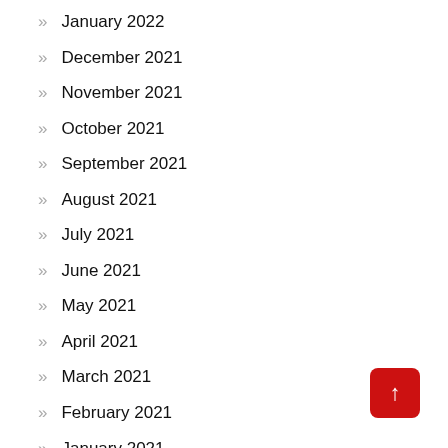» January 2022
» December 2021
» November 2021
» October 2021
» September 2021
» August 2021
» July 2021
» June 2021
» May 2021
» April 2021
» March 2021
» February 2021
» January 2021